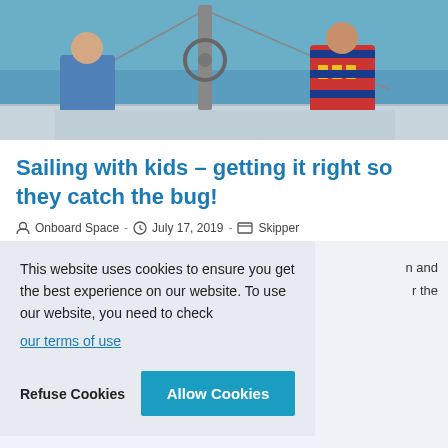[Figure (photo): Partial photo of children on a sailboat deck, wearing life jackets, with sailing equipment visible. The image is cropped showing only the top portion.]
Sailing with kids – getting it right so they catch the bug!
Onboard Space · July 17, 2019 · Skipper
This website uses cookies to ensure you get the best experience on our website. To use our website, you need to check our terms of use
Refuse Cookies   Allow Cookies
[Figure (photo): Partial bottom image of a sailboat and water, showing sailing masts and rigging at the bottom of the page.]